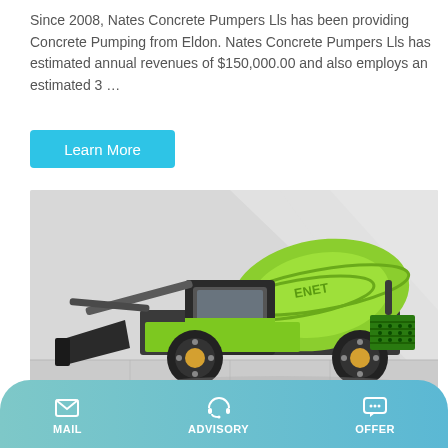Since 2008, Nates Concrete Pumpers Lls has been providing Concrete Pumping from Eldon. Nates Concrete Pumpers Lls has estimated annual revenues of $150,000.00 and also employs an estimated 3 …
Learn More
[Figure (photo): A green concrete mixer truck (branded 'ENET') on a light grey background, featuring a front-loading bucket, mixing drum, black cab, and large wheels with gold rims.]
MAIL   ADVISORY   OFFER